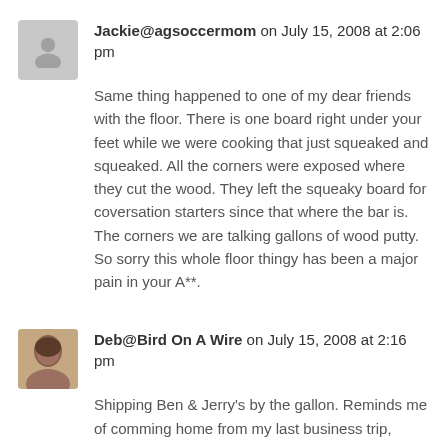Jackie@agsoccermom on July 15, 2008 at 2:06 pm
Same thing happened to one of my dear friends with the floor. There is one board right under your feet while we were cooking that just squeaked and squeaked. All the corners were exposed where they cut the wood. They left the squeaky board for coversation starters since that where the bar is. The corners we are talking gallons of wood putty. So sorry this whole floor thingy has been a major pain in your A**.
Deb@Bird On A Wire on July 15, 2008 at 2:16 pm
Shipping Ben & Jerry's by the gallon. Reminds me of comming home from my last business trip,